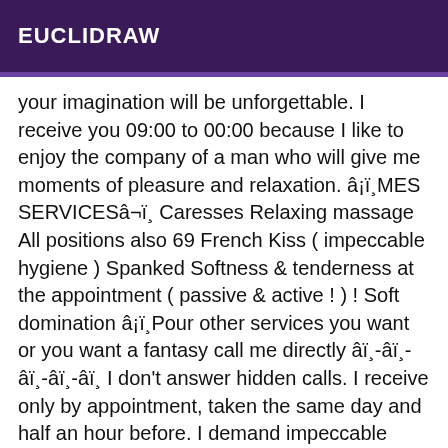EUCLIDRAW
your imagination will be unforgettable. I receive you 09:00 to 00:00 because I like to enjoy the company of a man who will give me moments of pleasure and relaxation. â¡ï¸MES SERVICESâ¬ï¸ Caresses Relaxing massage All positions also 69 French Kiss ( impeccable hygiene ) Spanked Softness & tenderness at the appointment ( passive & active ! ) ! Soft domination â¡ï¸Pour other services you want or you want a fantasy call me directly âï¸-âï¸-âï¸-âï¸-âï¸ I don't answer hidden calls. I receive only by appointment, taken the same day and half an hour before. I demand impeccable hygiene and respect on both sides. For more information do not hesitate to contact me. I am an escort full of life, who takes care of her body and of course of her health (regular tests performed). Beauty without health and health without beauty ... do not go hand in hand. If you wish, a recent test will be provided to you. âï¸INCALL - OUTCALLâï¸INCALL > I receive in a chic place in the